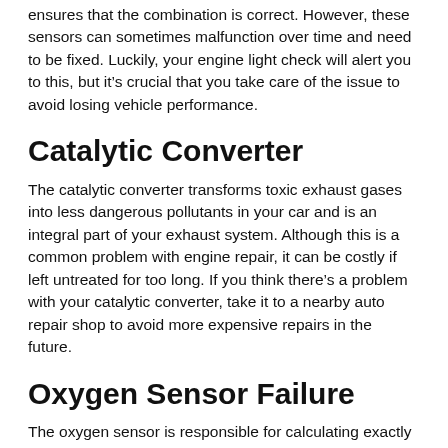ensures that the combination is correct. However, these sensors can sometimes malfunction over time and need to be fixed. Luckily, your engine light check will alert you to this, but it’s crucial that you take care of the issue to avoid losing vehicle performance.
Catalytic Converter
The catalytic converter transforms toxic exhaust gases into less dangerous pollutants in your car and is an integral part of your exhaust system. Although this is a common problem with engine repair, it can be costly if left untreated for too long. If you think there’s a problem with your catalytic converter, take it to a nearby auto repair shop to avoid more expensive repairs in the future.
Oxygen Sensor Failure
The oxygen sensor is responsible for calculating exactly